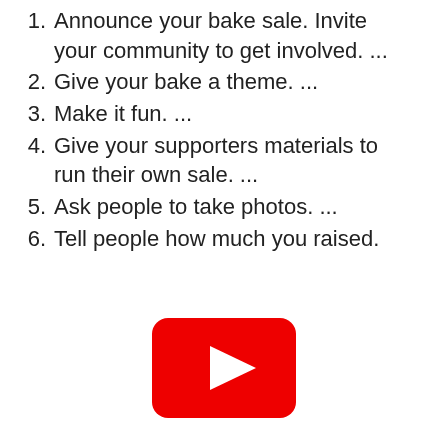1. Announce your bake sale. Invite your community to get involved. ...
2. Give your bake a theme. ...
3. Make it fun. ...
4. Give your supporters materials to run their own sale. ...
5. Ask people to take photos. ...
6. Tell people how much you raised.
[Figure (screenshot): YouTube video player button (red rounded rectangle with white play triangle)]